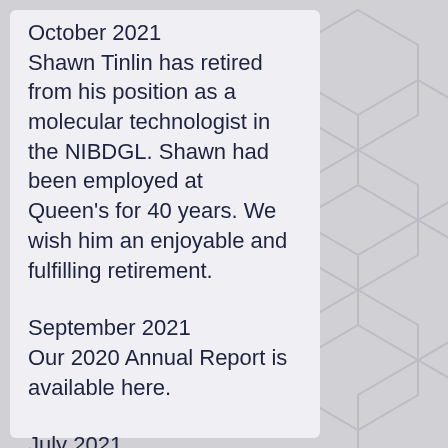October 2021
Shawn Tinlin has retired from his position as a molecular technologist in the NIBDGL. Shawn had been employed at Queen's for 40 years. We wish him an enjoyable and fulfilling retirement.
September 2021
Our 2020 Annual Report is available here.
July 2021
We are pleased to confirm